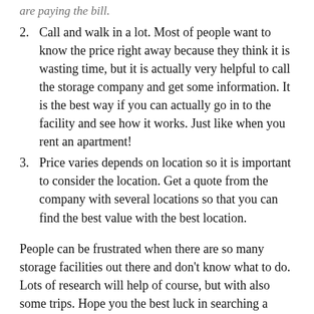Call and walk in a lot. Most of people want to know the price right away because they think it is wasting time, but it is actually very helpful to call the storage company and get some information. It is the best way if you can actually go in to the facility and see how it works. Just like when you rent an apartment!
Price varies depends on location so it is important to consider the location. Get a quote from the company with several locations so that you can find the best value with the best location.
People can be frustrated when there are so many storage facilities out there and don’t know what to do. Lots of research will help of course, but with also some trips. Hope you the best luck in searching a storage that best fits you!